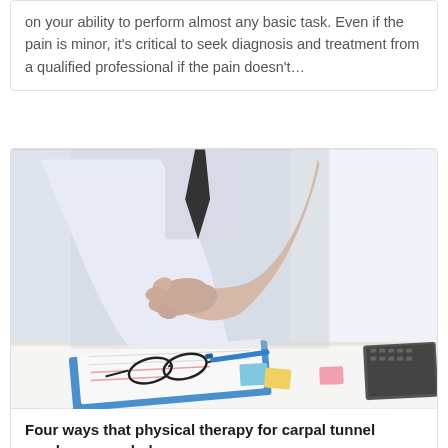on your ability to perform almost any basic task. Even if the pain is minor, it's critical to seek diagnosis and treatment from a qualified professional if the pain doesn't…
[Figure (photo): A person in a white dress shirt and dark tie holding their wrist with both hands, suggesting wrist pain. A desk is visible with glasses, papers on a clipboard, sticky notes, pens, and a laptop keyboard.]
Four ways that physical therapy for carpal tunnel syndrome can help